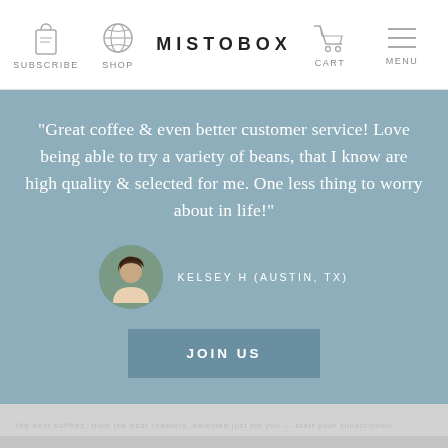SUBSCRIBE  SHOP  MISTOBOX  CART  MENU
"Great coffee & even better customer service! Love being able to try a variety of beans, that I know are high quality & selected for me. One less thing to worry about in life!"
KELSEY H (AUSTIN, TX)
JOIN US
FEATURED ON